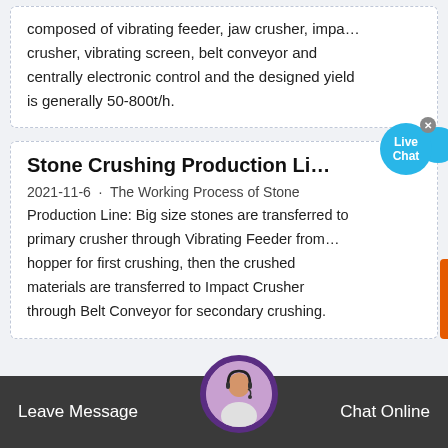composed of vibrating feeder, jaw crusher, impa… crusher, vibrating screen, belt conveyor and centrally electronic control and the designed yield is generally 50-800t/h.
Stone Crushing Production Line,R…
2021-11-6 · The Working Process of Stone Production Line: Big size stones are transferred to primary crusher through Vibrating Feeder from… hopper for first crushing, then the crushed materials are transferred to Impact Crusher through Belt Conveyor for secondary crushing.
Leave Message   Chat Online